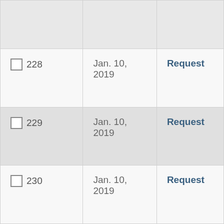| ID | Date | Action |
| --- | --- | --- |
|  |  |  |
| 228 | Jan. 10, 2019 | Request |
| 229 | Jan. 10, 2019 | Request |
| 230 | Jan. 10, 2019 | Request |